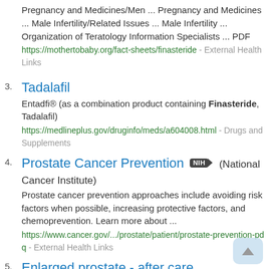Pregnancy and Medicines/Men ... Pregnancy and Medicines ... Male Infertility/Related Issues ... Male Infertility ... Organization of Teratology Information Specialists ... PDF
https://mothertobaby.org/fact-sheets/finasteride - External Health Links
3. Tadalafil
Entadfi® (as a combination product containing Finasteride, Tadalafil)
https://medlineplus.gov/druginfo/meds/a604008.html - Drugs and Supplements
4. Prostate Cancer Prevention [NIH] (National Cancer Institute)
Prostate cancer prevention approaches include avoiding risk factors when possible, increasing protective factors, and chemoprevention. Learn more about ...
https://www.cancer.gov/.../prostate/patient/prostate-prevention-pdq - External Health Links
5. Enlarged prostate - after care
... sometimes be an interaction. Other drugs such as finasteride or dutasteride may also be prescribed. These